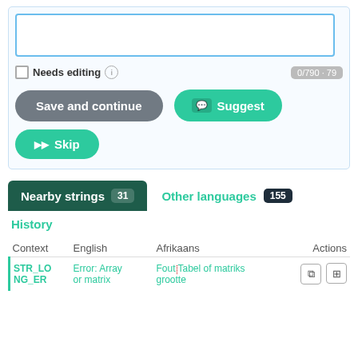[Figure (screenshot): Textarea input field with blue border and cursor]
Needs editing  0/790 · 79
Save and continue
Suggest
Skip
Nearby strings 31
Other languages 155
History
| Context | English | Afrikaans | Actions |
| --- | --- | --- | --- |
| STR_LONG_ER | Error: Array or matrix | Fout: Tabel of matriks grootte |  |